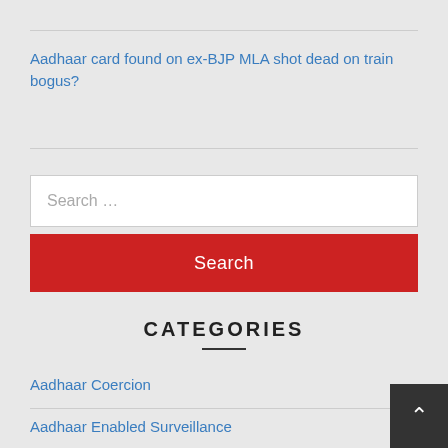Aadhaar card found on ex-BJP MLA shot dead on train bogus?
Search ...
Search
CATEGORIES
Aadhaar Coercion
Aadhaar Enabled Surveillance